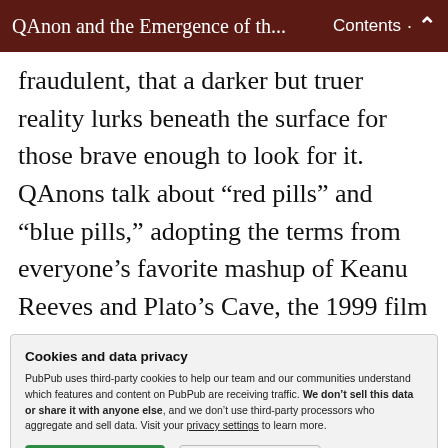QAnon and the Emergence of th...  Contents  ⌃
fraudulent, that a darker but truer reality lurks beneath the surface for those brave enough to look for it. QAnons talk about “red pills” and “blue pills,” adopting the terms from everyone’s favorite mashup of Keanu Reeves and Plato’s Cave, the 1999 film The Matrix. In the film, Reeves’s character is offered a red pill, which will
Cookies and data privacy
PubPub uses third-party cookies to help our team and our communities understand which features and content on PubPub are receiving traffic. We don’t sell this data or share it with anyone else, and we don’t use third-party processors who aggregate and sell data. Visit your privacy settings to learn more.
could of MGM in a world during at to